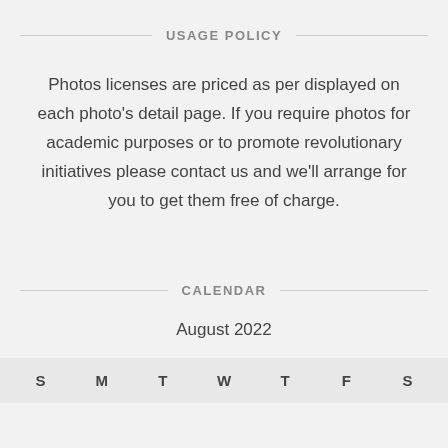USAGE POLICY
Photos licenses are priced as per displayed on each photo's detail page. If you require photos for academic purposes or to promote revolutionary initiatives please contact us and we'll arrange for you to get them free of charge.
CALENDAR
August 2022
| S | M | T | W | T | F | S |
| --- | --- | --- | --- | --- | --- | --- |